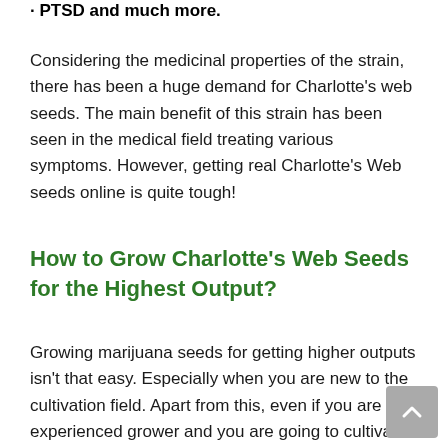PTSD and much more.
Considering the medicinal properties of the strain, there has been a huge demand for Charlotte's web seeds. The main benefit of this strain has been seen in the medical field treating various symptoms. However, getting real Charlotte's Web seeds online is quite tough!
How to Grow Charlotte's Web Seeds for the Highest Output?
Growing marijuana seeds for getting higher outputs isn't that easy. Especially when you are new to the cultivation field. Apart from this, even if you are an experienced grower and you are going to cultivate a new strain that has different genetics then you must be aware of certain things that might affect the growth of the strain.